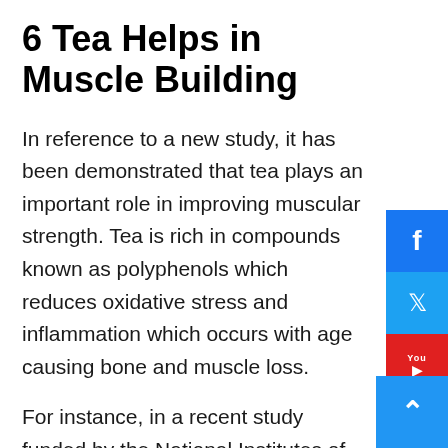6 Tea Helps in Muscle Building
In reference to a new study, it has been demonstrated that tea plays an important role in improving muscular strength. Tea is rich in compounds known as polyphenols which reduces oxidative stress and inflammation which occurs with age causing bone and muscle loss.
For instance, in a recent study funded by the National Institutes of Health's National Center for Complementary and Alternative Medicine, post-menopausal women who had started exhibiting early signs of osteoporosis who took tea showed an improvement in bone and muscle strength. With this study and results in mind, it is apparent